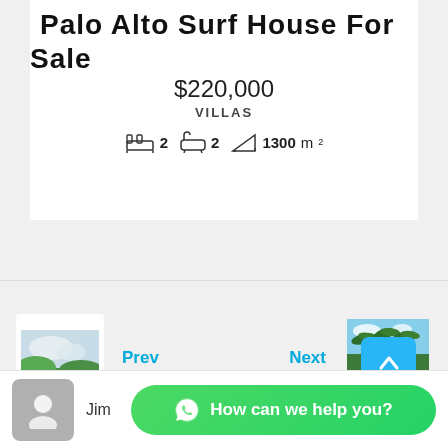Palo Alto Surf House For Sale
$220,000
VILLAS
2  2  1300 m²
Prev
Next
[Figure (photo): Small thumbnail of a green landscape with trees and a red object, navigation Prev]
[Figure (photo): Small thumbnail of a tropical beach scene with palm trees, navigation Next]
Jim
How can we help you?